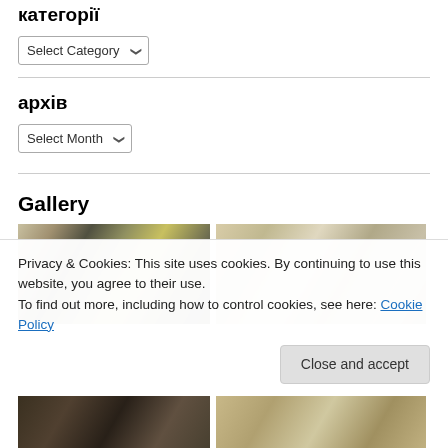категорії
Select Category (dropdown)
архів
Select Month (dropdown)
Gallery
[Figure (photo): Two street/urban photos side by side in top gallery row]
Privacy & Cookies: This site uses cookies. By continuing to use this website, you agree to their use.
To find out more, including how to control cookies, see here: Cookie Policy
Close and accept
[Figure (photo): Two street/urban photos side by side in bottom gallery row]